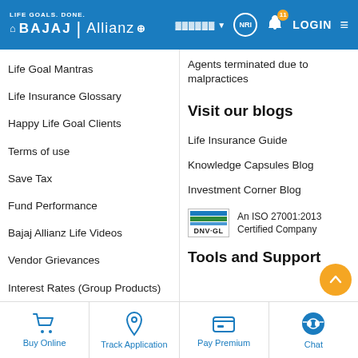[Figure (screenshot): Bajaj Allianz Life Insurance website header with logo, language selector, NRI badge, notification bell with 11 badge, LOGIN button, and hamburger menu on blue background]
Life Goal Mantras
Life Insurance Glossary
Happy Life Goal Clients
Terms of use
Save Tax
Fund Performance
Bajaj Allianz Life Videos
Vendor Grievances
Interest Rates (Group Products)
Public Notice
Agents terminated due to malpractices
Visit our blogs
Life Insurance Guide
Knowledge Capsules Blog
Investment Corner Blog
[Figure (logo): DNV-GL ISO 27001:2013 Certified Company logo with blue and green stripes]
An ISO 27001:2013 Certified Company
Tools and Support
[Figure (infographic): Bottom navigation bar with Buy Online (cart icon), Track Application (pin icon), Pay Premium (wallet icon), Chat (headset icon) in blue]
Buy Online  Track Application  Pay Premium  Chat